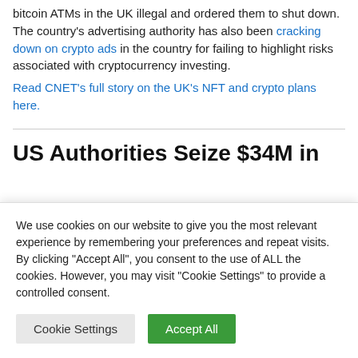bitcoin ATMs in the UK illegal and ordered them to shut down. The country's advertising authority has also been cracking down on crypto ads in the country for failing to highlight risks associated with cryptocurrency investing.
Read CNET's full story on the UK's NFT and crypto plans here.
US Authorities Seize $34M in
We use cookies on our website to give you the most relevant experience by remembering your preferences and repeat visits. By clicking "Accept All", you consent to the use of ALL the cookies. However, you may visit "Cookie Settings" to provide a controlled consent.